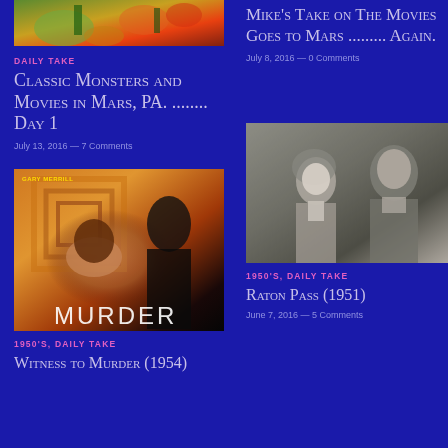[Figure (photo): Movie poster or scene image at top left, colorful action/monster movie]
DAILY TAKE
Classic Monsters and Movies in Mars, PA. ........ Day 1
July 13, 2016 — 7 Comments
[Figure (photo): Top right area - text content with no image visible]
Mike's Take on The Movies Goes to Mars ......... Again.
July 8, 2016 — 0 Comments
[Figure (photo): Movie poster for a murder/noir film - Gary Merrill, orange/brown tones with woman looking up]
1950'S, DAILY TAKE
Witness to Murder (1954)
[Figure (photo): Black and white film still showing a woman and man, 1950s movie scene]
1950'S, DAILY TAKE
Raton Pass (1951)
June 7, 2016 — 5 Comments